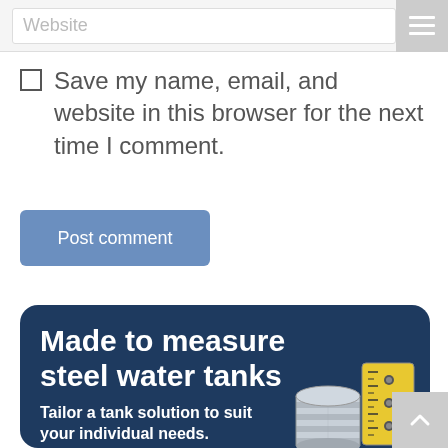Website
Save my name, email, and website in this browser for the next time I comment.
Post comment
[Figure (illustration): Advertisement banner with dark navy blue background and rounded corners. Title reads 'Made to measure steel water tanks'. Subtitle reads 'Tailor a tank solution to suit your individual needs.' with an illustration of a steel corrugated water tank next to a yellow tape measure.]